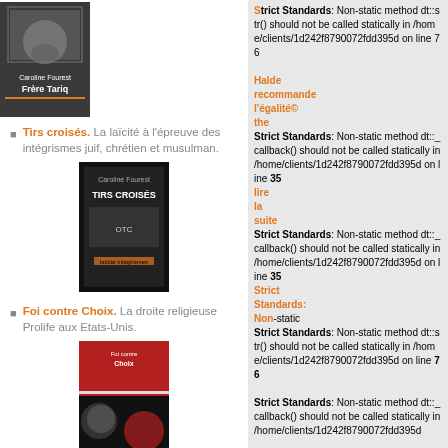[Figure (photo): Book cover: Frère Tariq]
Tirs croisés. La laïcité à l'épreuve des intégrismes juif, chrétien et musulman.
[Figure (photo): Book cover: Tirs croisés]
Foi contre Choix. La droite religieuse Prolife aux Etats-Unis.
[Figure (photo): Book cover: Foi contre Choix]
S'abonner à la liste de diffusion ProChoix, Se désabonner
Strict Standards: Non-static method dt::str() should not be called statically in /home/clients/1d242f8790072fdd395d on line 76
Strict Standards: Non-static method dt::_callback() should not be called statically in /home/clients/1d242f8790072fdd395d on line 35
Strict Standards: Non-static method dt::_callback() should not be called statically in /home/clients/1d242f8790072fdd395d on line 35
Strict Standards: Non-static method dt::str() should not be called statically in /home/clients/1d242f8790072fdd395d on line 76
Strict Standards: Non-static method dt::_callback() should not be called statically in /home/clients/1d242f8790072fdd395d